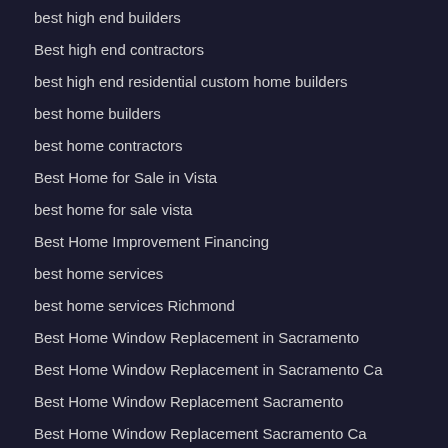best high end builders
Best high end contractors
best high end residential custom home builders
best home builders
best home contractors
Best Home for Sale in Vista
best home for sale vista
Best Home Improvement Financing
best home services
best home services Richmond
Best Home Window Replacement in Sacramento
Best Home Window Replacement in Sacramento Ca
Best Home Window Replacement Sacramento
Best Home Window Replacement Sacramento Ca
best homes
best homes for sale in vista ca 92081
best homes vista